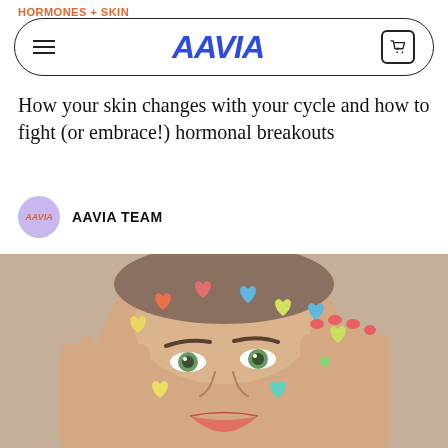HORMONES + SKIN
[Figure (screenshot): AAVIA website navigation bar with hamburger menu, AAVIA logo in blue italic bold text, and a shopping cart icon with 0 items]
How your skin changes with your cycle and how to fight (or embrace!) hormonal breakouts
AAVIA TEAM
[Figure (photo): Close-up photo of a person with short hair, green eyes, and colorful heart-shaped stickers on their face, holding their face with both hands, smiling slightly against a light gray background]